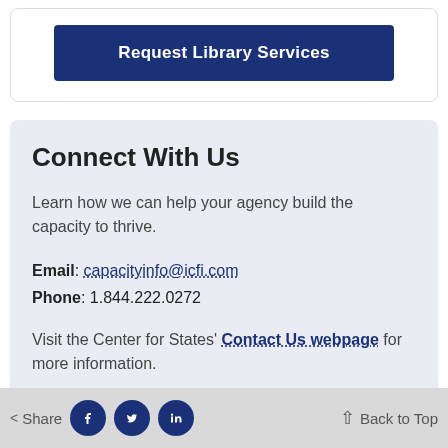Request Library Services
Connect With Us
Learn how we can help your agency build the capacity to thrive.
Email: capacityinfo@icfi.com
Phone: 1.844.222.0272
Visit the Center for States' Contact Us webpage for more information.
< Share   Back to Top